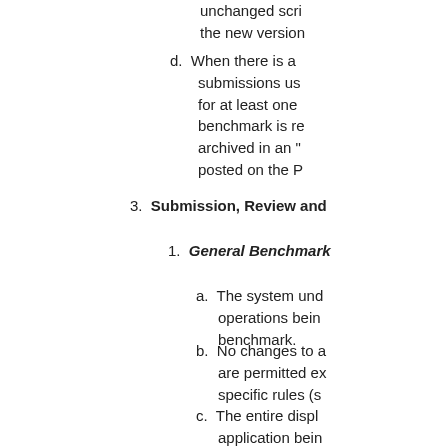code is replaced unchanged scripts the new version
d. When there is a submissions us for at least one benchmark is re archived in an " posted on the P
3. Submission, Review and
1. General Benchmark
a. The system und operations bein benchmark.
b. No changes to a are permitted ex specific rules (s
c. The entire displ application bein